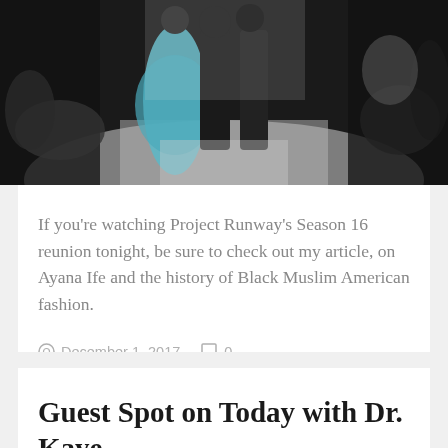[Figure (photo): Fashion runway photo showing models and audience at what appears to be a fashion show. A model in a blue/teal flowing gown is visible, surrounded by people in dark clothing, with an audience clapping on the sides.]
If you're watching Project Runway's Season 16 reunion tonight, be sure to check out my article, on Ayana Ife and the history of Black Muslim American fashion.
December 1, 2017   0
Guest Spot on Today with Dr. Kaye